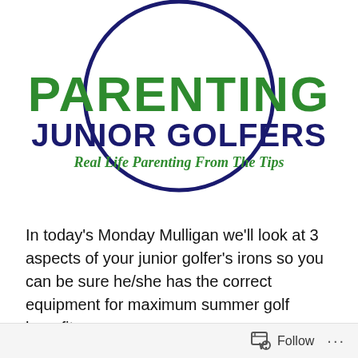[Figure (logo): Parenting Junior Golfers logo: large circle outline in dark navy blue, with bold green text 'PARENTING' on top, bold navy text 'JUNIOR GOLFERS' in the middle, and italic green tagline 'Real Life Parenting From The Tips' below]
In today's Monday Mulligan we'll look at 3 aspects of your junior golfer's irons so you can be sure he/she has the correct equipment for maximum summer golf benefits.
Your youngster is growing, needing bigger shoes, new pants, shirts, tops and bottoms. Remember Mom and Dad,
Follow ...